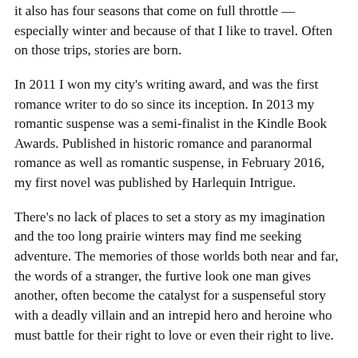it also has four seasons that come on full throttle — especially winter and because of that I like to travel.  Often on those trips, stories are born.
In 2011 I won my city's writing award, and was the first romance writer to do so since its inception.  In 2013 my romantic suspense was a semi-finalist in the Kindle Book Awards.  Published in historic romance and paranormal romance as well as romantic suspense, in February 2016, my first novel was published by Harlequin Intrigue.
There's no lack of places to set a story as my imagination and the too long prairie winters may find me seeking adventure.  The memories of those worlds both near and far, the words of a stranger, the furtive look one man gives another, often become the catalyst for a suspenseful story with a deadly villain and an intrepid hero and heroine who must battle for their right to love or even their right to live.